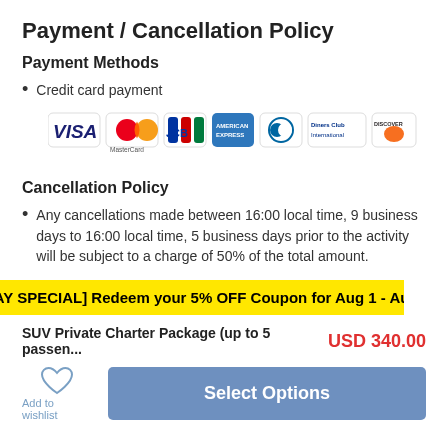Payment / Cancellation Policy
Payment Methods
Credit card payment
[Figure (logo): Credit card logos: VISA, MasterCard, JCB, American Express, Diners, Diners Club International, Discover]
Cancellation Policy
Any cancellations made between 16:00 local time, 9 business days to 16:00 local time, 5 business days prior to the activity will be subject to a charge of 50% of the total amount.
[CH DAY SPECIAL] Redeem your 5% OFF Coupon for Aug 1 - Aug 31,
SUV Private Charter Package (up to 5 passen... USD 340.00
Add to wishlist
Select Options